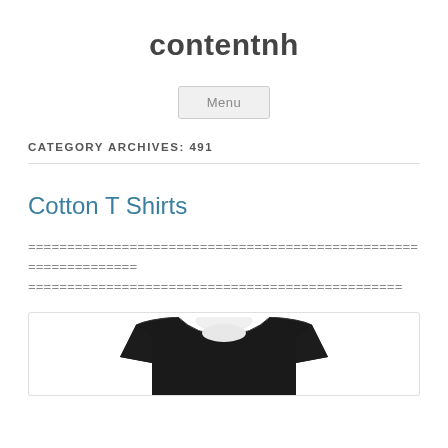contentnh
Menu
CATEGORY ARCHIVES: 491
Cotton T Shirts
================================================================
================================================
[Figure (photo): A dark/black cotton t-shirt displayed against a white background, visible from the upper chest area showing the collar and shoulders.]